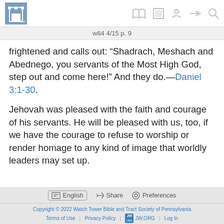w84 4/15 p. 9
frightened and calls out: “Shadrach, Meshach and Abednego, you servants of the Most High God, step out and come here!” And they do.—Daniel 3:1-30.
Jehovah was pleased with the faith and courage of his servants. He will be pleased with us, too, if we have the courage to refuse to worship or render homage to any kind of image that worldly leaders may set up.
English  Share  Preferences
Copyright © 2022 Watch Tower Bible and Tract Society of Pennsylvania
Terms of Use | Privacy Policy | JW.ORG | Log In